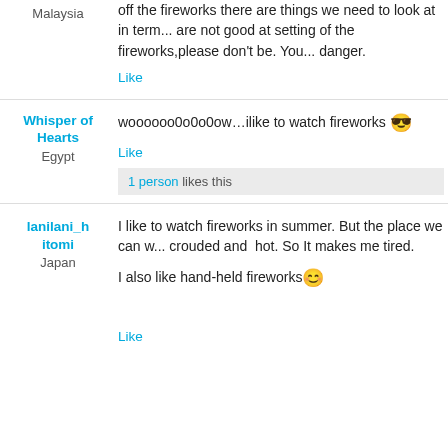Malaysia
off the fireworks there are things we need to look at in term... are not good at setting of the fireworks,please don't be. You... danger.
Like
Whisper of Hearts
Egypt
woooooo0o0o0ow…ilike to watch fireworks 😎
Like
1 person likes this
lanilani_hitomi
Japan
I like to watch fireworks in summer. But the place we can w... crouded and hot. So It makes me tired.
I also like hand-held fireworks 😊
Like